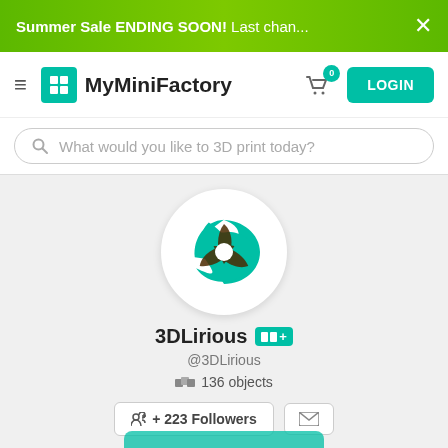Summer Sale ENDING SOON! Last chan... ×
MyMiniFactory LOGIN
What would you like to 3D print today?
[Figure (logo): 3DLirious profile avatar: teal/brown swirl logo in a circle]
3DLirious [MMF+]
@3DLirious
136 objects
+ 223 Followers
SUPPORT ME